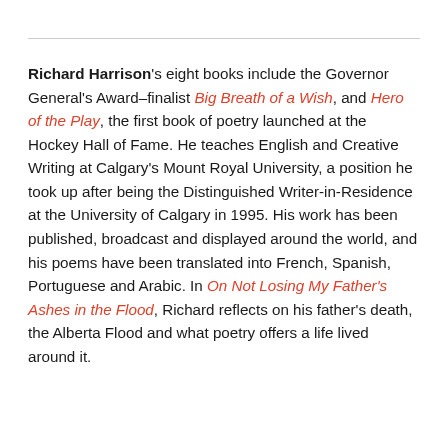Richard Harrison's eight books include the Governor General's Award–finalist Big Breath of a Wish, and Hero of the Play, the first book of poetry launched at the Hockey Hall of Fame. He teaches English and Creative Writing at Calgary's Mount Royal University, a position he took up after being the Distinguished Writer-in-Residence at the University of Calgary in 1995. His work has been published, broadcast and displayed around the world, and his poems have been translated into French, Spanish, Portuguese and Arabic. In On Not Losing My Father's Ashes in the Flood, Richard reflects on his father's death, the Alberta Flood and what poetry offers a life lived around it.